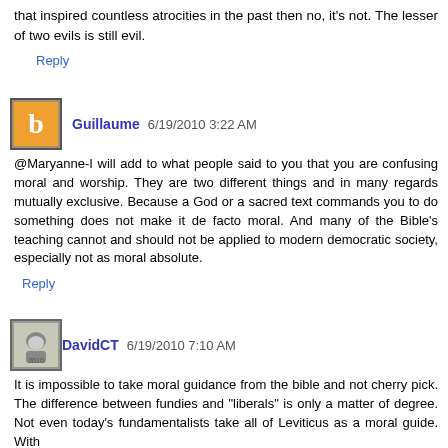that inspired countless atrocities in the past then no, it's not. The lesser of two evils is still evil.
Reply
Guillaume 6/19/2010 3:22 AM
@Maryanne-I will add to what people said to you that you are confusing moral and worship. They are two different things and in many regards mutually exclusive. Because a God or a sacred text commands you to do something does not make it de facto moral. And many of the Bible's teaching cannot and should not be applied to modern democratic society, especially not as moral absolute.
Reply
DavidCT 6/19/2010 7:10 AM
It is impossible to take moral guidance from the bible and not cherry pick. The difference between fundies and "liberals" is only a matter of degree. Not even today's fundamentalists take all of Leviticus as a moral guide. With